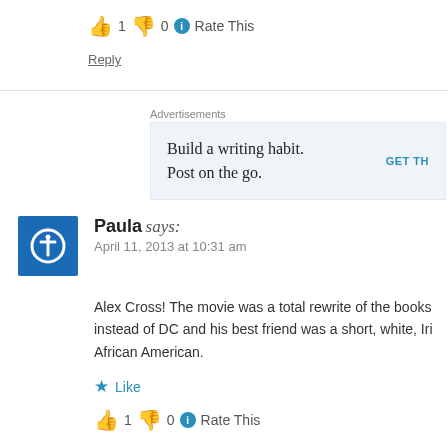👍 1 👎 0 ℹ Rate This
Reply
Advertisements
Build a writing habit. Post on the go. GET TH
Paula says: April 11, 2013 at 10:31 am
Alex Cross! The movie was a total rewrite of the books instead of DC and his best friend was a short, white, Iri African American.
★ Like
👍 1 👎 0 ℹ Rate This